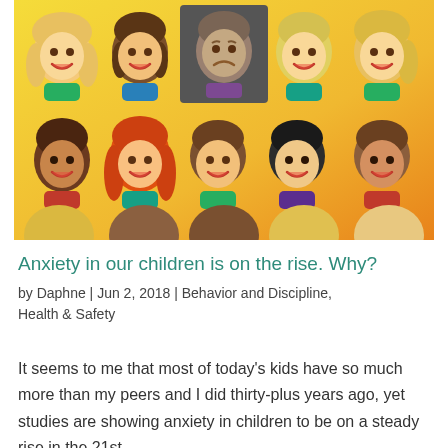[Figure (illustration): Illustration of cartoon children's faces on a yellow-orange gradient background. Top row has five smiling children with various hair colors; the center child in the top row is framed in a dark box and appears sad/anxious. Middle row has five more smiling cartoon children. Bottom row shows partial heads of several children.]
Anxiety in our children is on the rise. Why?
by Daphne | Jun 2, 2018 | Behavior and Discipline, Health & Safety
It seems to me that most of today’s kids have so much more than my peers and I did thirty-plus years ago, yet studies are showing anxiety in children to be on a steady rise in the 21st